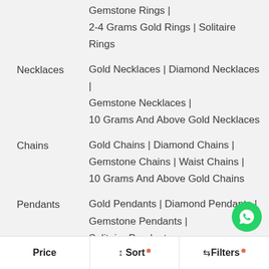Gemstone Rings | 2-4 Grams Gold Rings | Solitaire Rings
Necklaces — Gold Necklaces | Diamond Necklaces | Gemstone Necklaces | 10 Grams And Above Gold Necklaces
Chains — Gold Chains | Diamond Chains | Gemstone Chains | Waist Chains | 10 Grams And Above Gold Chains
Pendants — Gold Pendants | Diamond Pendants | Gemstone Pendants | Solitaire Pendants
Bangles — Gold Bangles | Diamond Bangles | Gemstone Bangles | 10 Grams And Above Gold Bangles
Nosepins — Gold Nosepins | Diamond Nosepins
Price | ↑↓ Sort · | ⇌ Filters ·